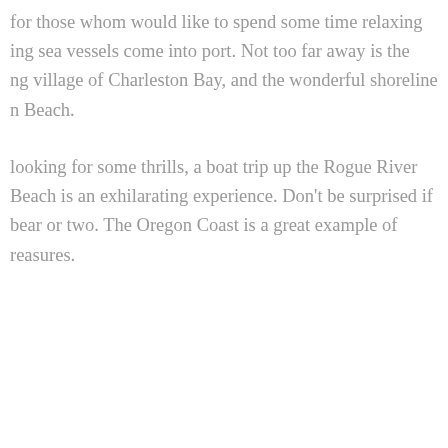for those whom would like to spend some time relaxing ing sea vessels come into port. Not too far away is the ng village of Charleston Bay, and the wonderful shoreline n Beach.
looking for some thrills, a boat trip up the Rogue River Beach is an exhilarating experience. Don't be surprised if bear or two. The Oregon Coast is a great example of reasures.
ave a Reply
email address will not be published. Required fields marked *